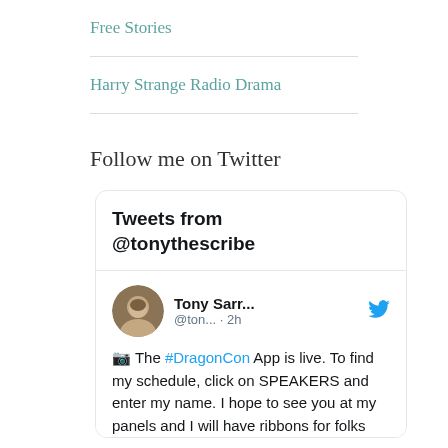Free Stories
Harry Strange Radio Drama
Follow me on Twitter
[Figure (screenshot): Twitter widget showing tweets from @tonythescribe. A tweet by Tony Sarr... (@ton...) posted 2h ago reads: 📷 The #DragonCon App is live. To find my schedule, click on SPEAKERS and enter my name. I hope to see you at my panels and I will have ribbons for folks]